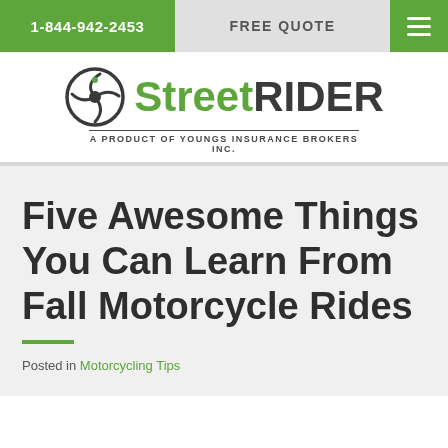1-844-942-2453  FREE QUOTE
[Figure (logo): StreetRider logo with stylized wheel icon. Text reads 'Street' in green and 'RIDER' in dark gray. Tagline: 'A PRODUCT OF YOUNGS INSURANCE BROKERS INC.']
Five Awesome Things You Can Learn From Fall Motorcycle Rides
Posted in Motorcycling Tips